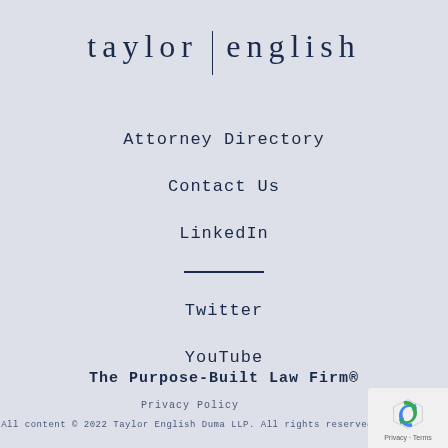[Figure (logo): Taylor English law firm logo with text 'taylor | english' in serif font with vertical bar divider]
Attorney Directory
Contact Us
LinkedIn
Twitter
YouTube
The Purpose-Built Law Firm®
Privacy Policy
All content © 2022 Taylor English Duma LLP. All rights reserved.